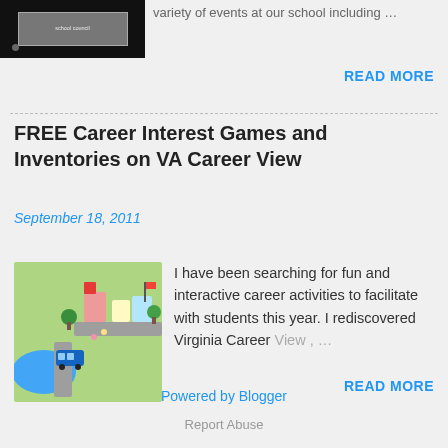[Figure (screenshot): Small black thumbnail image of a school/education related screenshot]
variety of events at our school including …
READ MORE
FREE Career Interest Games and Inventories on VA Career View
September 18, 2011
[Figure (illustration): Colorful illustrated map/town scene with buildings, roads, and a blue water body]
I have been searching for fun and interactive career activities to facilitate with students this year. I rediscovered  Virginia Career View , …
READ MORE
Powered by Blogger
Report Abuse